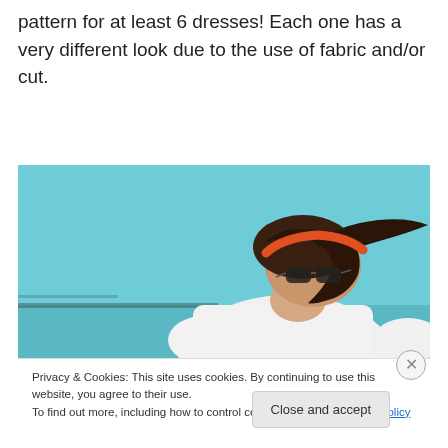pattern for at least 6 dresses! Each one has a very different look due to the use of fabric and/or cut.
[Figure (photo): Woman with dark hair, orange headband, and glasses wearing a white sleeveless top, photographed outdoors against a light blue sky background.]
Privacy & Cookies: This site uses cookies. By continuing to use this website, you agree to their use.
To find out more, including how to control cookies, see here: Cookie Policy
Close and accept